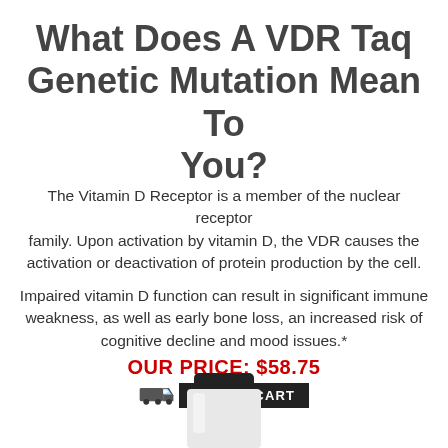What Does A VDR Taq Genetic Mutation Mean To You?
The Vitamin D Receptor is a member of the nuclear receptor family. Upon activation by vitamin D, the VDR causes the activation or deactivation of protein production by the cell.
Impaired vitamin D function can result in significant immune weakness, as well as early bone loss, an increased risk of cognitive decline and mood issues.*
OUR PRICE: $58.75
[Figure (illustration): Add to cart button with truck icon, black background, white uppercase text saying ADD TO CART]
[Figure (photo): Top portion of a white supplement bottle with black cap, partially visible at the bottom of the page]